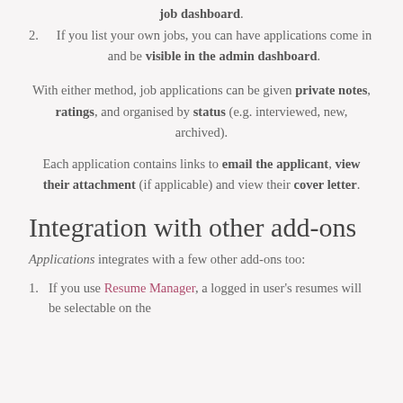job dashboard.
2. If you list your own jobs, you can have applications come in and be visible in the admin dashboard.
With either method, job applications can be given private notes, ratings, and organised by status (e.g. interviewed, new, archived).
Each application contains links to email the applicant, view their attachment (if applicable) and view their cover letter.
Integration with other add-ons
Applications integrates with a few other add-ons too:
1. If you use Resume Manager, a logged in user's resumes will be selectable on the